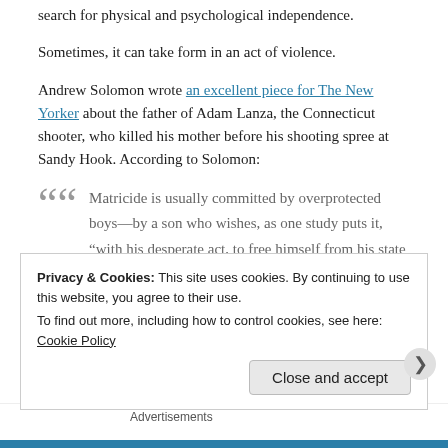search for physical and psychological independence.
Sometimes, it can take form in an act of violence.
Andrew Solomon wrote an excellent piece for The New Yorker about the father of Adam Lanza, the Connecticut shooter, who killed his mother before his shooting spree at Sandy Hook. According to Solomon:
Matricide is usually committed by overprotected boys—by a son who wishes, as one study puts it, "with his desperate act, to free himself from his state of dependency on her, a dependency that he believes has not allowed him to grow up."
Privacy & Cookies: This site uses cookies. By continuing to use this website, you agree to their use.
To find out more, including how to control cookies, see here: Cookie Policy
Close and accept
Advertisements